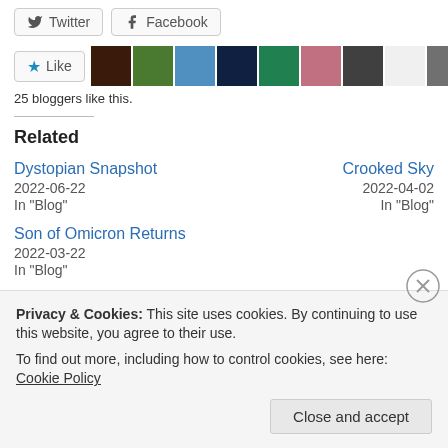[Figure (other): Twitter and Facebook share buttons]
[Figure (other): Like button with 11 blogger avatar thumbnails]
25 bloggers like this.
Related
Dystopian Snapshot
2022-06-22
In "Blog"
Crooked Sky
2022-04-02
In "Blog"
Son of Omicron Returns
2022-03-22
In "Blog"
Privacy & Cookies: This site uses cookies. By continuing to use this website, you agree to their use.
To find out more, including how to control cookies, see here: Cookie Policy
Close and accept